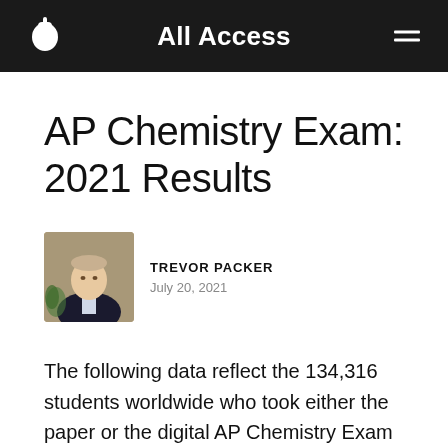All Access
AP Chemistry Exam: 2021 Results
TREVOR PACKER
July 20, 2021
The following data reflect the 134,316 students worldwide who took either the paper or the digital AP Chemistry Exam prior to June 12.